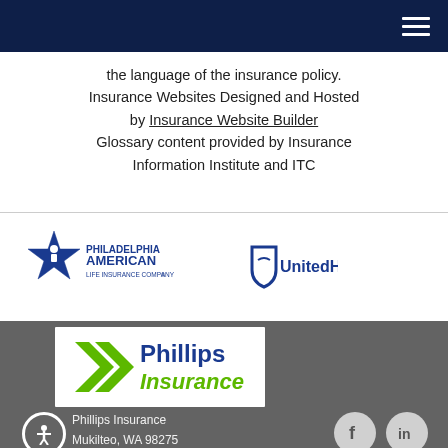Navigation bar with hamburger menu
the language of the insurance policy.
Insurance Websites Designed and Hosted by Insurance Website Builder
Glossary content provided by Insurance Information Institute and ITC
[Figure (logo): Philadelphia American Life Insurance Company logo - blue star with figure, company name in blue text]
[Figure (logo): UnitedHealthcare logo - blue shield icon with UnitedHe text (partially visible)]
[Figure (logo): Phillips Insurance logo - blue and green chevron arrows with Phillips in blue and Insurance in green text on white background]
Phillips Insurance
Mukilteo, WA 98275
P: 800.701.1985
E:
[Figure (infographic): Facebook and LinkedIn social media icons as white symbols in gray circles]